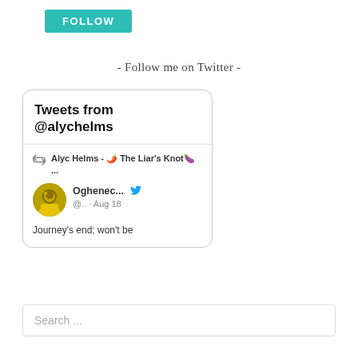[Figure (screenshot): Teal/green FOLLOW button]
- Follow me on Twitter -
[Figure (screenshot): Twitter widget showing Tweets from @alychelms. Retweet by Alyc Helms - The Liar's Knot emoji ... Tweet by Oghenec... @.. · Aug 18. Text: Journey's end; won't be]
Search ...